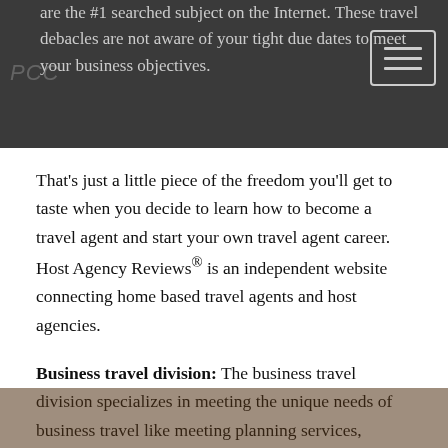are the #1 searched subject on the Internet. These travel debacles are not aware of your tight due dates to meet your business objectives.
That's just a little piece of the freedom you'll get to taste when you decide to learn how to become a travel agent and start your own travel agent career. Host Agency Reviews® is an independent website connecting home based travel agents and host agencies.
Business travel division: The business travel division specializes in meeting the unique needs of business travel like meeting planning services, attendee management, online event booking and more. And starting your own business, whether it's a cruise travel home business or a European vacation home